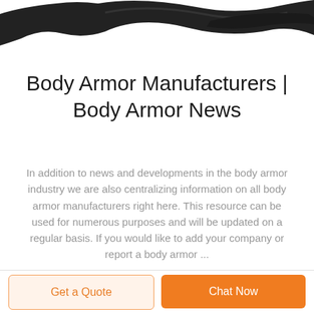[Figure (photo): Partial image of a black strap or body armor component against a white background, cropped at top of page]
Body Armor Manufacturers | Body Armor News
In addition to news and developments in the body armor industry we are also centralizing information on all body armor manufacturers right here. This resource can be used for numerous purposes and will be updated on a regular basis. If you would like to add your company or report a body armor ...